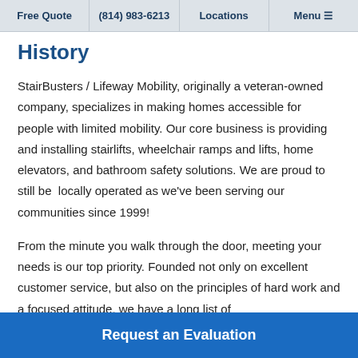Free Quote | (814) 983-6213 | Locations | Menu
History
StairBusters / Lifeway Mobility, originally a veteran-owned company, specializes in making homes accessible for people with limited mobility. Our core business is providing and installing stairlifts, wheelchair ramps and lifts, home elevators, and bathroom safety solutions. We are proud to still be  locally operated as we've been serving our communities since 1999!
From the minute you walk through the door, meeting your needs is our top priority. Founded not only on excellent customer service, but also on the principles of hard work and a focused attitude, we have a long list of
Request an Evaluation